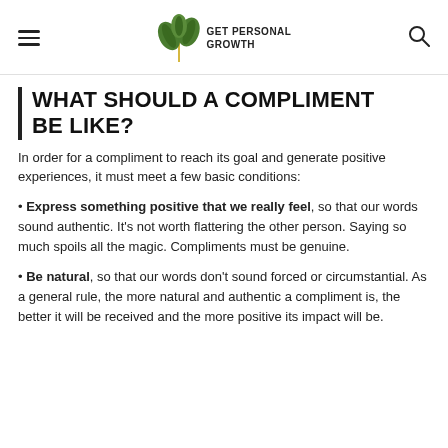GET PERSONAL GROWTH
WHAT SHOULD A COMPLIMENT BE LIKE?
In order for a compliment to reach its goal and generate positive experiences, it must meet a few basic conditions:
Express something positive that we really feel, so that our words sound authentic. It's not worth flattering the other person. Saying so much spoils all the magic. Compliments must be genuine.
Be natural, so that our words don't sound forced or circumstantial. As a general rule, the more natural and authentic a compliment is, the better it will be received and the more positive its impact will be.